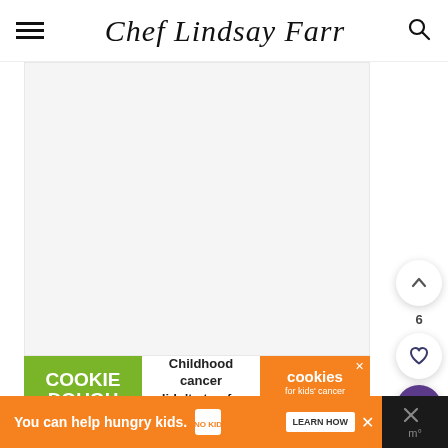Chef Lindsay Farr
[Figure (screenshot): Website screenshot of Chef Lindsay Farr blog — white content area with a light gray placeholder image region]
[Figure (infographic): Ad banner: COOKIE DOUGH green section, white center text 'Childhood cancer didn't stop for COVID-19.', orange cookies for kids cancer GET BAKING]
[Figure (infographic): Bottom orange ad bar: 'You can help hungry kids.' No Kid Hungry logo, LEARN HOW button, close X]
[Figure (infographic): Floating action buttons on right: up chevron button, like count 6, heart button, purple search button]